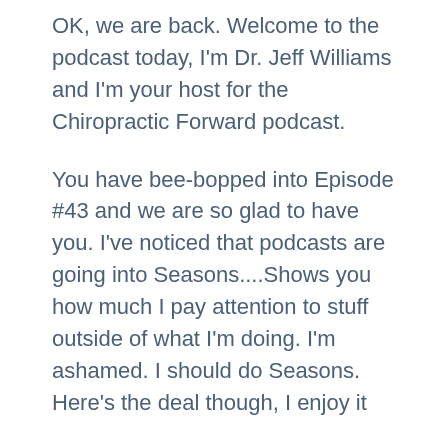OK, we are back. Welcome to the podcast today, I'm Dr. Jeff Williams and I'm your host for the Chiropractic Forward podcast.
You have bee-bopped into Episode #43 and we are so glad to have you. I've noticed that podcasts are going into Seasons....Shows you how much I pay attention to stuff outside of what I'm doing. I'm ashamed. I should do Seasons. Here's the deal though, I enjoy it